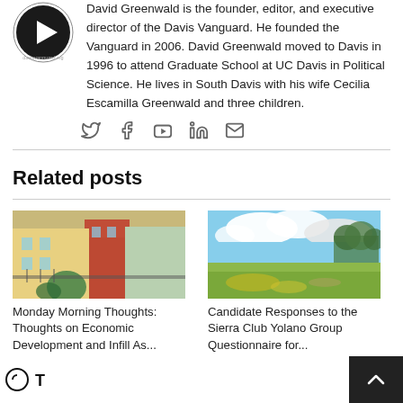[Figure (logo): Davis Vanguard circular logo with play button]
David Greenwald is the founder, editor, and executive director of the Davis Vanguard. He founded the Vanguard in 2006. David Greenwald moved to Davis in 1996 to attend Graduate School at UC Davis in Political Science. He lives in South Davis with his wife Cecilia Escamilla Greenwald and three children.
[Figure (infographic): Social media icons: Twitter, Facebook, YouTube, LinkedIn, Email]
Related posts
[Figure (photo): Photo of a building courtyard with plants and colorful facades]
Monday Morning Thoughts: Thoughts on Economic Development and Infill As...
[Figure (photo): Photo of an open green field under a partly cloudy sky]
Candidate Responses to the Sierra Club Yolano Group Questionnaire for...